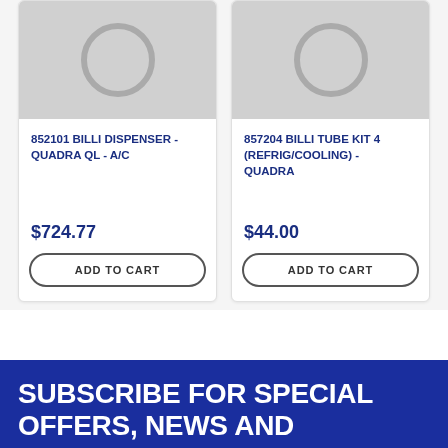[Figure (photo): Product placeholder image for 852101 BILLI DISPENSER - QUADRA QL - A/C, grey background with circle icon]
852101 BILLI DISPENSER - QUADRA QL - A/C
$724.77
ADD TO CART
[Figure (photo): Product placeholder image for 857204 BILLI TUBE KIT 4 (REFRIG/COOLING) - QUADRA, grey background with circle icon]
857204 BILLI TUBE KIT 4 (REFRIG/COOLING) - QUADRA
$44.00
ADD TO CART
SUBSCRIBE FOR SPECIAL OFFERS, NEWS AND